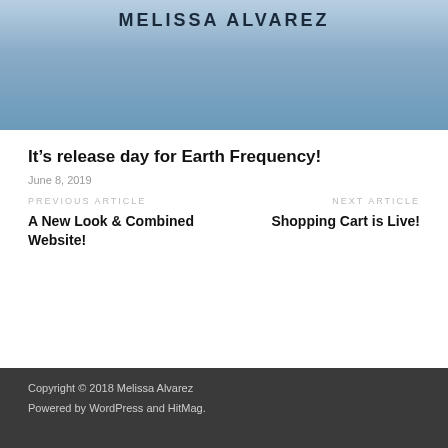[Figure (illustration): Book cover image for Melissa Alvarez with blue geometric mandala-style background and author name text at top]
It’s release day for Earth Frequency!
June 8, 2019
PREVIOUS ARTICLE
A New Look & Combined Website!
NEXT ARTICLE
Shopping Cart is Live!
Copyright © 2018 Melissa Alvarez
Powered by WordPress and HitMag.